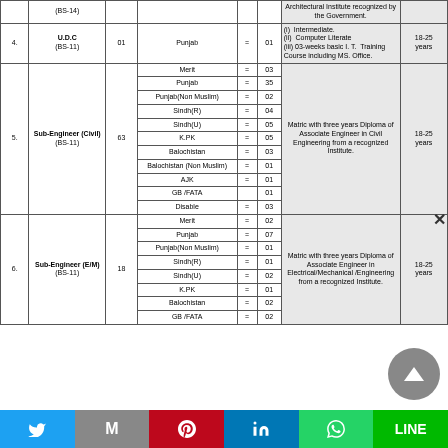| Sr. | Post Name | Total | Region/Province | = | Vacancies | Qualification | Age |
| --- | --- | --- | --- | --- | --- | --- | --- |
|  | (BS-14) |  |  |  |  | Architectural Institute recognized by the Government. |  |
| 4. | U.D.C (BS-11) | 01 | Punjab | = | 01 | (i) Intermediate. (ii) Computer Literate (iii) 03-weeks basic I.T. Training Course including MS. Office. | 18-25 years |
| 5. | Sub-Engineer (Civil) (BS-11) | 63 | Merit | = | 03 | Matric with three years Diploma of Associate Engineer in Civil Engineering from a recognized Institute. | 18-25 years |
|  |  |  | Punjab | = | 35 |  |  |
|  |  |  | Punjab(Non Muslim) | = | 02 |  |  |
|  |  |  | Sindh(R) | = | 04 |  |  |
|  |  |  | Sindh(U) | = | 05 |  |  |
|  |  |  | K.PK | = | 05 |  |  |
|  |  |  | Balochistan | = | 03 |  |  |
|  |  |  | Balochistan (Non Muslim) | = | 01 |  |  |
|  |  |  | AJK | = | 01 |  |  |
|  |  |  | GB /FATA |  | 01 |  |  |
|  |  |  | Disable | = | 03 |  |  |
| 6. | Sub-Engineer (E/M) (BS-11) | 18 | Merit | = | 02 | Matric with three years Diploma of Associate Engineer in Electrical/Mechanical /Engineering from a recognized Institute. | 18-25 years |
|  |  |  | Punjab | = | 07 |  |  |
|  |  |  | Punjab(Non Muslim) | = | 01 |  |  |
|  |  |  | Sindh(R) | = | 01 |  |  |
|  |  |  | Sindh(U) | = | 02 |  |  |
|  |  |  | K.PK | = | 01 |  |  |
|  |  |  | Balochistan | = | 02 |  |  |
|  |  |  | GB /FATA | = | 02 |  |  |